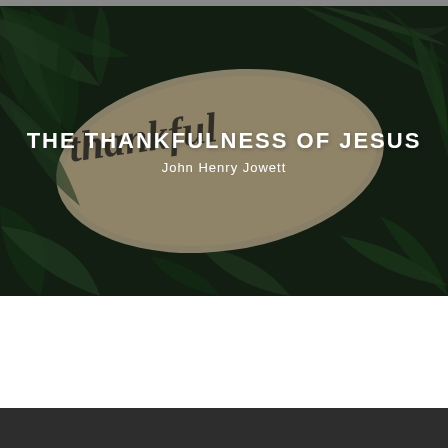[Figure (photo): A photograph of a wooden oval sign with cursive black lettering reading 'thankful', surrounded by dark green tropical palm leaves. Over the image, bold white uppercase text reads 'THE THANKFULNESS OF JESUS' and below it in smaller white text 'John Henry Jowett'.]
THE THANKFULNESS OF JESUS
John Henry Jowett